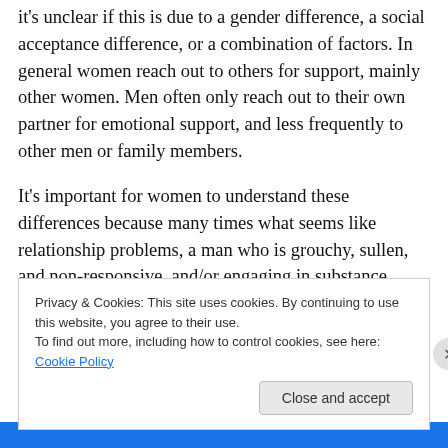it's unclear if this is due to a gender difference, a social acceptance difference, or a combination of factors. In general women reach out to others for support, mainly other women. Men often only reach out to their own partner for emotional support, and less frequently to other men or family members.
It's important for women to understand these differences because many times what seems like relationship problems, a man who is grouchy, sullen, and non-responsive, and/or engaging in substance abuse despite thing seemingly going relatively OK, can often be the
Privacy & Cookies: This site uses cookies. By continuing to use this website, you agree to their use.
To find out more, including how to control cookies, see here: Cookie Policy